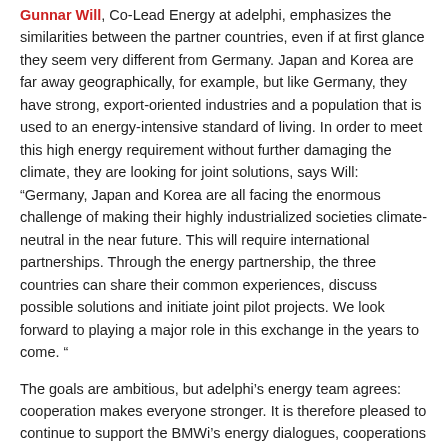Gunnar Will, Co-Lead Energy at adelphi, emphasizes the similarities between the partner countries, even if at first glance they seem very different from Germany. Japan and Korea are far away geographically, for example, but like Germany, they have strong, export-oriented industries and a population that is used to an energy-intensive standard of living. In order to meet this high energy requirement without further damaging the climate, they are looking for joint solutions, says Will: “Germany, Japan and Korea are all facing the enormous challenge of making their highly industrialized societies climate-neutral in the near future. This will require international partnerships. Through the energy partnership, the three countries can share their common experiences, discuss possible solutions and initiate joint pilot projects. We look forward to playing a major role in this exchange in the years to come. ”
The goals are ambitious, but adelphi’s energy team agrees: cooperation makes everyone stronger. It is therefore pleased to continue to support the BMWi’s energy dialogues, cooperations and partnerships in the future.
Further information
Energy Cooperations with the USA and Canada
Energy Cooperation with Australia and New Zealand